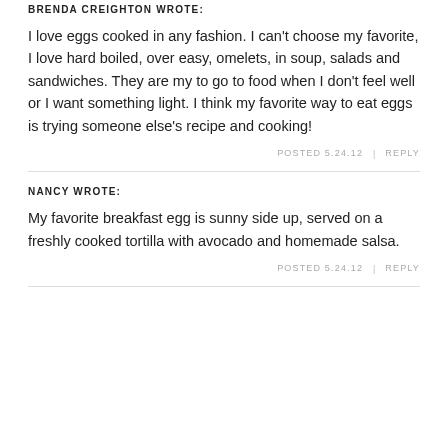BRENDA CREIGHTON WROTE:
I love eggs cooked in any fashion. I can't choose my favorite, I love hard boiled, over easy, omelets, in soup, salads and sandwiches. They are my to go to food when I don't feel well or I want something light. I think my favorite way to eat eggs is trying someone else's recipe and cooking!
POSTED 5.24.12 | REPLY
NANCY WROTE:
My favorite breakfast egg is sunny side up, served on a freshly cooked tortilla with avocado and homemade salsa.
POSTED 5.24.12 | REPLY